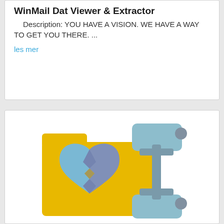WinMail Dat Viewer & Extractor
Description:  YOU HAVE A VISION. WE HAVE A WAY TO GET YOU THERE. ...
les mer
[Figure (illustration): Icon showing a yellow folder with a broken/cracked heart icon inside it, and a blue-grey compression/clamp tool overlapping on the right side. The image represents a file repair or extraction tool.]